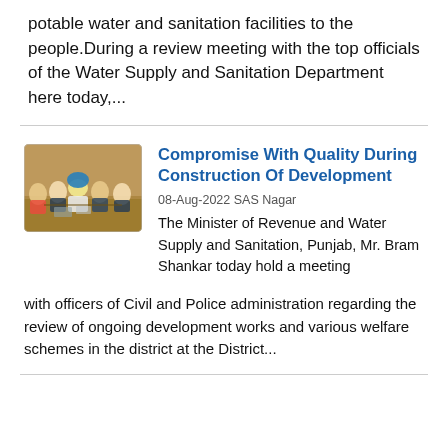potable water and sanitation facilities to the people.During a review meeting with the top officials of the Water Supply and Sanitation Department here today,...
[Figure (photo): A meeting scene with officials seated around a table in a conference room]
Compromise With Quality During Construction Of Development
08-Aug-2022 SAS Nagar
The Minister of Revenue and Water Supply and Sanitation, Punjab, Mr. Bram Shankar today hold a meeting with officers of Civil and Police administration regarding the review of ongoing development works and various welfare schemes in the district at the District...